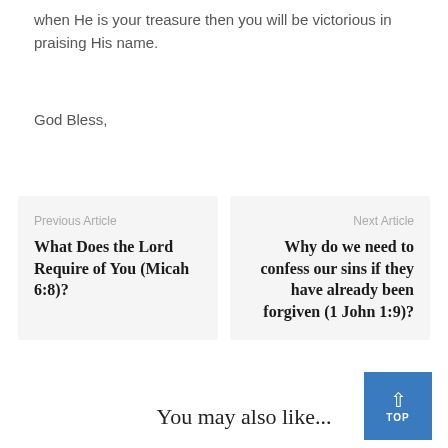when He is your treasure then you will be victorious in praising His name.
God Bless,
Previous Article
What Does the Lord Require of You (Micah 6:8)?
Next Article
Why do we need to confess our sins if they have already been forgiven (1 John 1:9)?
You may also like...